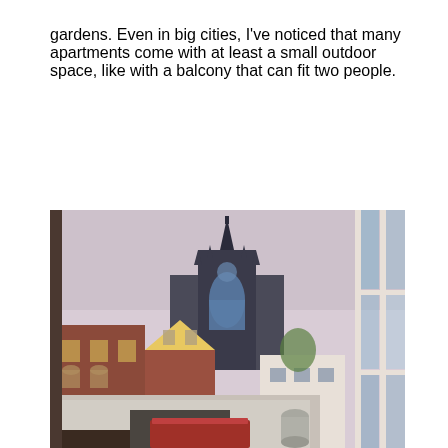gardens. Even in big cities, I've noticed that many apartments come with at least a small outdoor space, like with a balcony that can fit two people.
[Figure (photo): View from an open window looking out over rooftops of brick buildings toward a large Gothic cathedral with a pointed spire and stained glass windows. In the foreground on the windowsill sits a red book-like object. The window frame is white and the reflection of blue sky and clouds appears in the glass panes on the right side.]